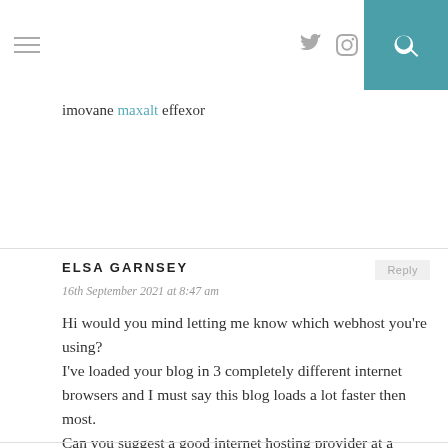Navigation bar with hamburger menu, twitter icon, instagram icon, and search button
imovane maxalt effexor
ELSA GARNSEY
16th September 2021 at 8:47 am
Hi would you mind letting me know which webhost you're using?
I've loaded your blog in 3 completely different internet browsers and I must say this blog loads a lot faster then most.
Can you suggest a good internet hosting provider at a reasonable price?
Many thanks, I appreciate it!